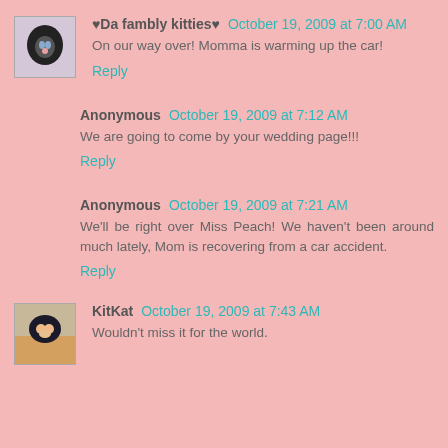♥Da fambly kitties♥  October 19, 2009 at 7:00 AM
On our way over! Momma is warming up the car!
Reply
Anonymous  October 19, 2009 at 7:12 AM
We are going to come by your wedding page!!!
Reply
Anonymous  October 19, 2009 at 7:21 AM
We'll be right over Miss Peach! We haven't been around much lately, Mom is recovering from a car accident.
Reply
KitKat  October 19, 2009 at 7:43 AM
Wouldn't miss it for the world.